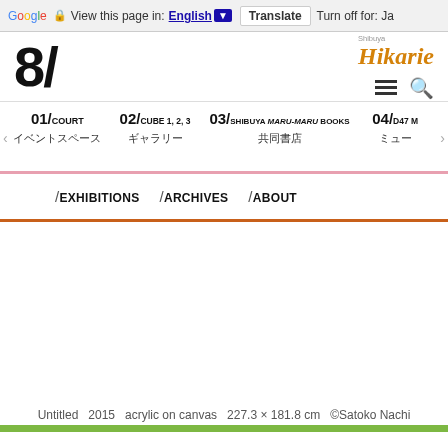Google  View this page in: English ▼  Translate  Turn off for: Ja
8/ Shibuya Hikarie
[Figure (logo): Shibuya Hikarie 8/ logo with orange italic Hikarie text and hamburger/search icons]
01/COURT イベントスペース
02/CUBE 1, 2, 3 ギャラリー
03/SHIBUYA maru-maru BOOKS 共同書店
04/d47 ミュー
/EXHIBITIONS  /ARCHIVES  /ABOUT
Untitled   2015   acrylic on canvas   227.3 × 181.8 cm   ©Satoko Nachi